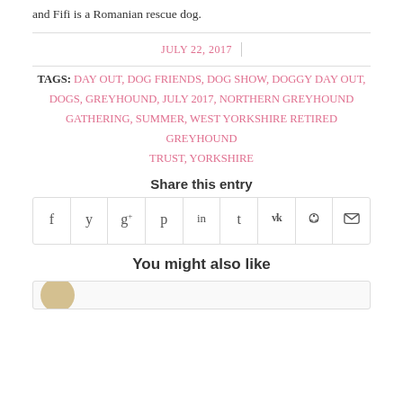and Fifi is a Romanian rescue dog.
JULY 22, 2017
TAGS: DAY OUT, DOG FRIENDS, DOG SHOW, DOGGY DAY OUT, DOGS, GREYHOUND, JULY 2017, NORTHERN GREYHOUND GATHERING, SUMMER, WEST YORKSHIRE RETIRED GREYHOUND TRUST, YORKSHIRE
Share this entry
[Figure (other): Social sharing icons row: Facebook, Twitter, Google+, Pinterest, LinkedIn, Tumblr, VK, Reddit, Email]
You might also like
[Figure (photo): Thumbnail image partially visible at bottom]